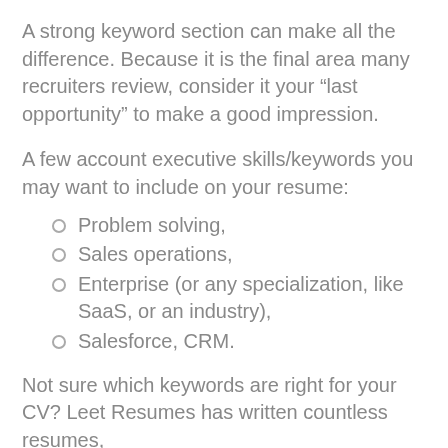A strong keyword section can make all the difference. Because it is the final area many recruiters review, consider it your “last opportunity” to make a good impression.
A few account executive skills/keywords you may want to include on your resume:
Problem solving,
Sales operations,
Enterprise (or any specialization, like SaaS, or an industry),
Salesforce, CRM.
Not sure which keywords are right for your CV? Leet Resumes has written countless resumes,